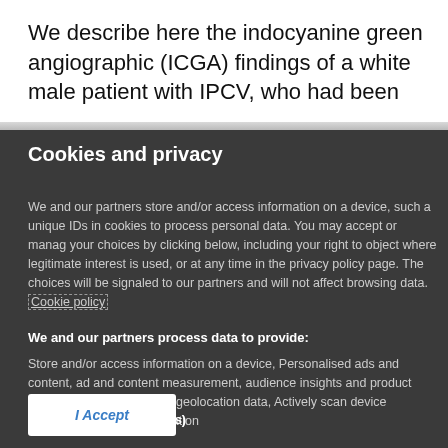We describe here the indocyanine green angiographic (ICGA) findings of a white male patient with IPCV, who had been
Cookies and privacy
We and our partners store and/or access information on a device, such as unique IDs in cookies to process personal data. You may accept or manage your choices by clicking below, including your right to object where legitimate interest is used, or at any time in the privacy policy page. These choices will be signaled to our partners and will not affect browsing data. Cookie policy
We and our partners process data to provide:
Store and/or access information on a device, Personalised ads and content, ad and content measurement, audience insights and product development, Use precise geolocation data, Actively scan device characteristics for identification
List of Partners (vendors)